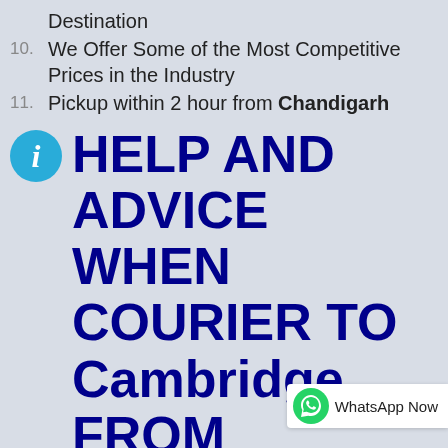Destination
We Offer Some of the Most Competitive Prices in the Industry
Pickup within 2 hour from Chandigarh
HELP AND ADVICE WHEN COURIER TO Cambridge FROM Chandigarh
Estimated delivery time Express : 3-5 days
Economy delivery time : 6-12 Days
Cheapest option: 3 - 5 days
Tracking: Yes
Couriers: All International delivery bran…
Order before noon and receive same day collection…